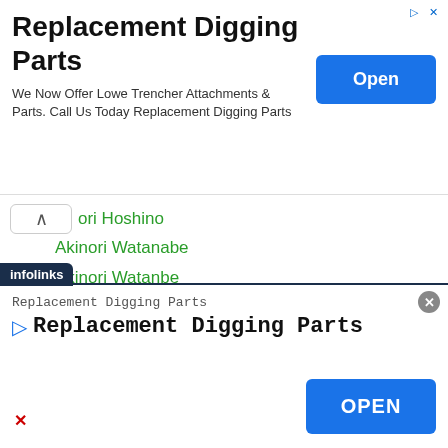[Figure (screenshot): Top advertisement banner for Replacement Digging Parts with Open button]
ori Hoshino
Akinori Watanabe
Akinori Watanbe
Akio Furutani
Akio Kameda
Akio-maki
Akio Shibata
Akira Hoshuyama
Akira Kaito
Akira Kokubo
Akira Shono
[Figure (screenshot): Bottom infolinks advertisement for Replacement Digging Parts with OPEN button]